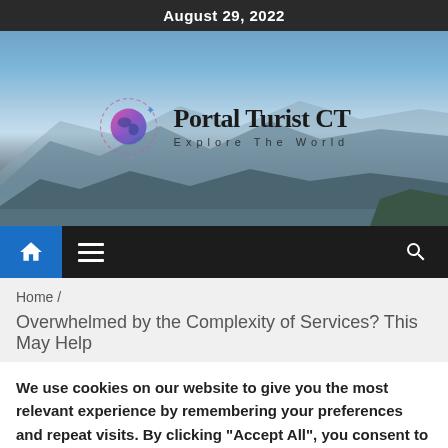August 29, 2022
[Figure (screenshot): Portal Turist CT website hero banner with mountain landscape background, circular globe logo, site title 'Portal Turist CT' and tagline 'Explore The World']
[Figure (screenshot): Navigation bar with blue home button, hamburger menu icon, and search icon on dark background]
Home /
Overwhelmed by the Complexity of Services? This May Help
We use cookies on our website to give you the most relevant experience by remembering your preferences and repeat visits. By clicking "Accept All", you consent to the use of ALL the cookies. However, you may visit "Cookie Settings" to provide a controlled consent.